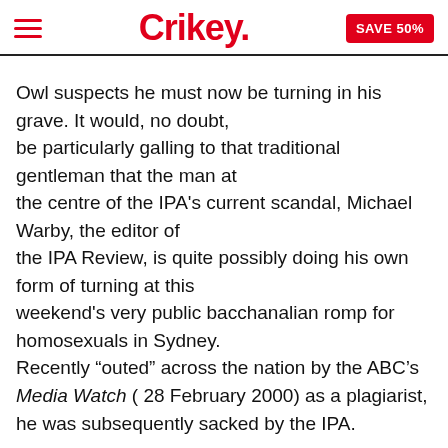Crikey. SAVE 50%
Owl suspects he must now be turning in his grave. It would, no doubt, be particularly galling to that traditional gentleman that the man at the centre of the IPA’s current scandal, Michael Warby, the editor of the IPA Review, is quite possibly doing his own form of turning at this weekend’s very public bacchanalian romp for homosexuals in Sydney. Recently “outed” across the nation by the ABC’s Media Watch ( 28 February 2000) as a plagiarist, he was subsequently sacked by the IPA.